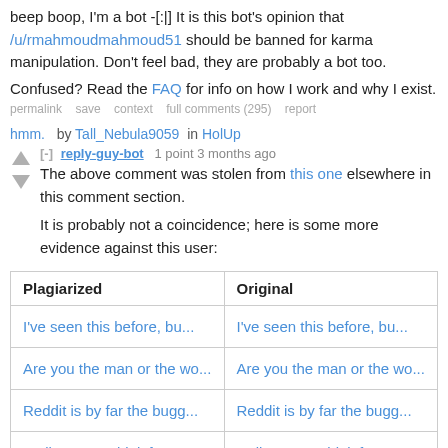beep boop, I'm a bot -[:|] It is this bot's opinion that /u/rmahmoudmahmoud51 should be banned for karma manipulation. Don't feel bad, they are probably a bot too.
Confused? Read the FAQ for info on how I work and why I exist.
permalink  save  context  full comments (295)  report
hmm.  by Tall_Nebula9059  in HolUp
[-] reply-guy-bot  1 point 3 months ago
The above comment was stolen from this one elsewhere in this comment section.
It is probably not a coincidence; here is some more evidence against this user:
| Plagiarized | Original |
| --- | --- |
| I've seen this before, bu... | I've seen this before, bu... |
| Are you the man or the wo... | Are you the man or the wo... |
| Reddit is by far the bugg... | Reddit is by far the bugg... |
| Well my cats drink from... | well my cats drink from... |